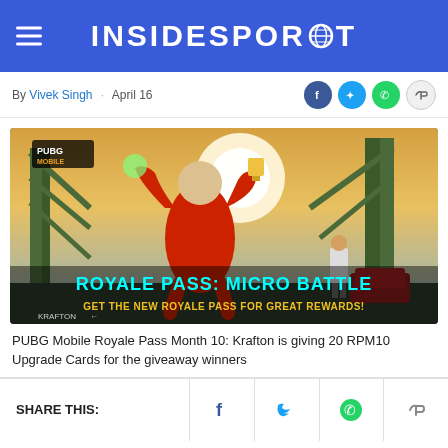INSIDESPORT
By Vivek Singh · April 16
[Figure (photo): PUBG Mobile Royale Pass Micro Battle promotional image featuring a character in red armor on a bridge with text 'ROYALE PASS: MICRO BATTLE - GET THE NEW ROYALE PASS FOR GREAT REWARDS!' and KRAFTON branding]
PUBG Mobile Royale Pass Month 10: Krafton is giving 20 RPM10 Upgrade Cards for the giveaway winners
SHARE THIS: